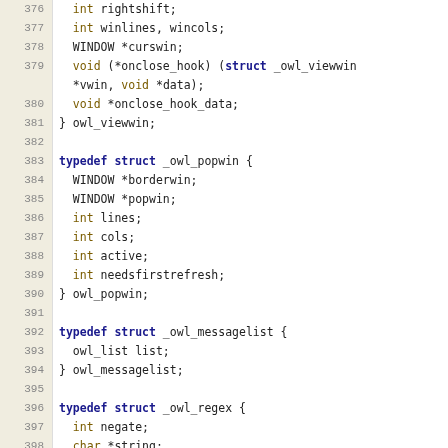Code listing lines 376-405, C source code showing struct typedefs for owl_viewwin, owl_popwin, owl_messagelist, owl_regex, and owl_filterelement.